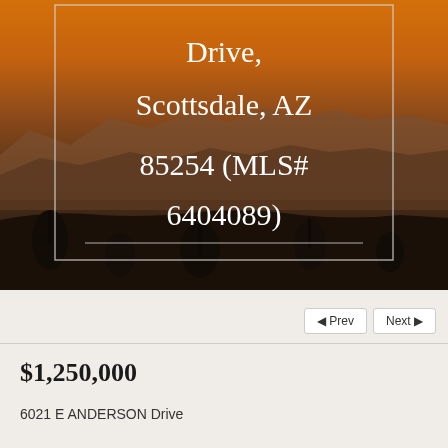[Figure (photo): Aerial/landscape photo of Scottsdale Arizona desert at sunset with orange sky, mountains in background, and desert vegetation in foreground. A bordered text overlay displays the property address and MLS number.]
Drive, Scottsdale, AZ 85254 (MLS# 6404089)
$1,250,000
6021 E ANDERSON Drive